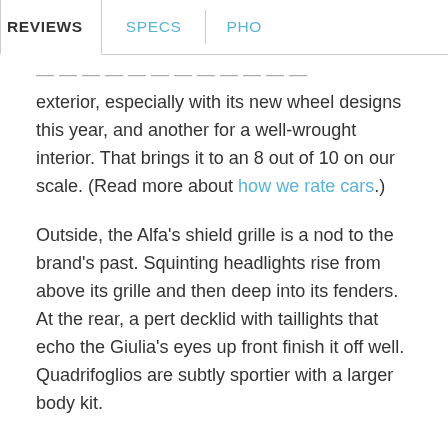REVIEWS | SPECS | PHO
exterior, especially with its new wheel designs this year, and another for a well-wrought interior. That brings it to an 8 out of 10 on our scale. (Read more about how we rate cars.)
Outside, the Alfa’s shield grille is a nod to the brand’s past. Squinting headlights rise from above its grille and then deep into its fenders. At the rear, a pert decklid with taillights that echo the Giulia’s eyes up front finish it off well. Quadrifoglios are subtly sportier with a larger body kit.